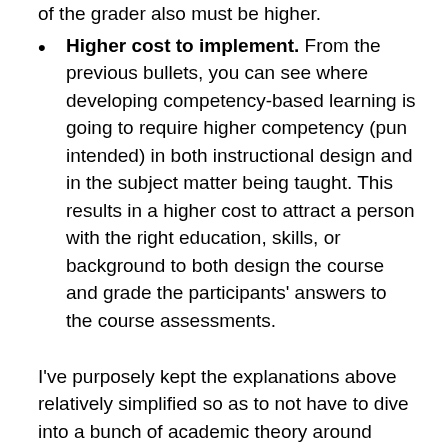of the grader also must be higher.
Higher cost to implement. From the previous bullets, you can see where developing competency-based learning is going to require higher competency (pun intended) in both instructional design and in the subject matter being taught. This results in a higher cost to attract a person with the right education, skills, or background to both design the course and grade the participants' answers to the course assessments.
I've purposely kept the explanations above relatively simplified so as to not have to dive into a bunch of academic theory around learning, but there is a plethora of academic research around “assessment” (how to measure whether learning outcomes have